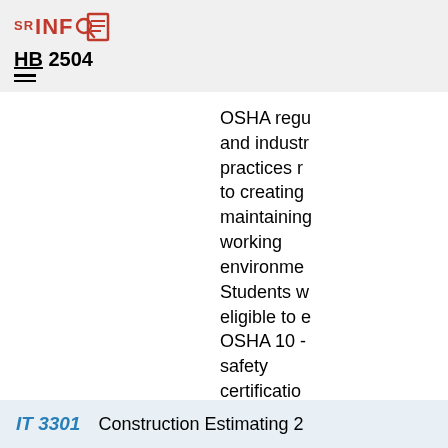SR INFO HB 2504
OSHA regulations and industry practices related to creating and maintaining safe working environments. Students will be eligible to earn OSHA 10 - safety certification.
IT 3301    Construction Estimating 2